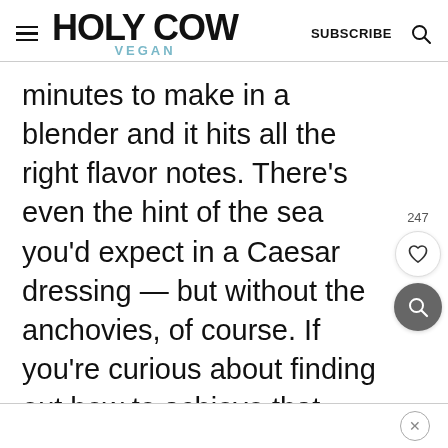Holy Cow Vegan — SUBSCRIBE
minutes to make in a blender and it hits all the right flavor notes. There's even the hint of the sea you'd expect in a Caesar dressing — but without the anchovies, of course. If you're curious about finding out how to achieve that, read on.